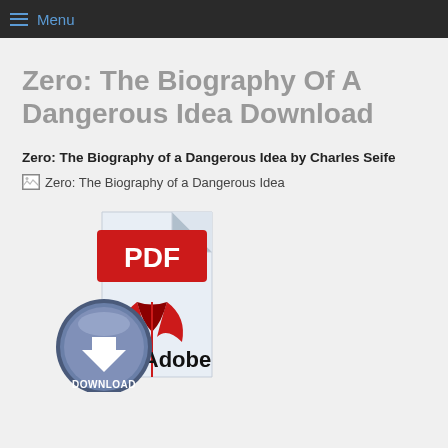Menu
Zero: The Biography Of A Dangerous Idea Download
Zero: The Biography of a Dangerous Idea by Charles Seife
[Figure (illustration): Broken image placeholder for 'Zero: The Biography of a Dangerous Idea' book cover]
[Figure (illustration): PDF download icon showing a PDF document with Adobe logo and a blue download arrow button labeled DOWNLOAD]